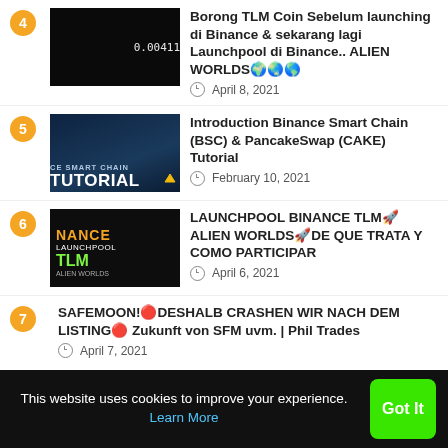Borong TLM Coin Sebelum launching di Binance & sekarang lagi Launchpool di Binance.. ALIEN WORLDS🌍🌏🌎 — April 8, 2021
Introduction Binance Smart Chain (BSC) & PancakeSwap (CAKE) Tutorial — February 10, 2021
LAUNCHPOOL BINANCE TLM🚀ALIEN WORLDS🚀DE QUE TRATA Y COMO PARTICIPAR — April 6, 2021
SAFEMOON!🔴DESHALB CRASHEN WIR NACH DEM LISTING🔴 Zukunft von SFM uvm. | Phil Trades — April 7, 2021
This website uses cookies to improve your experience. Learn More